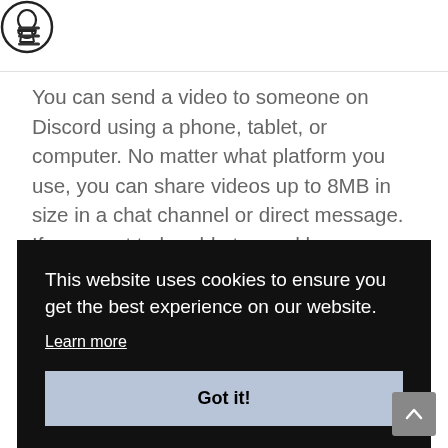[logo icon - wikihow style]
You can send a video to someone on Discord using a phone, tablet, or computer. No matter what platform you use, you can share videos up to 8MB in size in a chat channel or direct message. If you want to be able to send larger videos (up to 50MB), you can subscribe to Discord Nitro to increase your file sending limits or upload your video to another
This website uses cookies to ensure you get the best experience on our website.
Learn more
Got it!